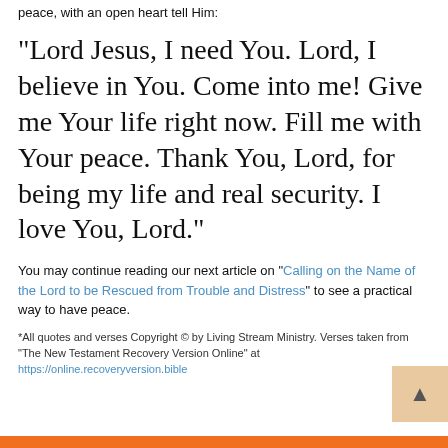peace, with an open heart tell Him:
“Lord Jesus, I need You. Lord, I believe in You. Come into me! Give me Your life right now. Fill me with Your peace. Thank You, Lord, for being my life and real security. I love You, Lord.”
You may continue reading our next article on “Calling on the Name of the Lord to be Rescued from Trouble and Distress” to see a practical way to have peace.
*All quotes and verses Copyright © by Living Stream Ministry. Verses taken from "The New Testament Recovery Version Online" at https://online.recoveryversion.bible